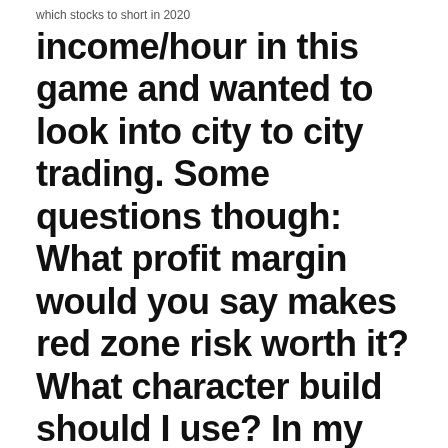which stocks to short in 2020
income/hour in this game and wanted to look into city to city trading. Some questions though: What profit margin would you say makes red zone risk worth it? What character build should I use? In my head I was thinking...
Buy Albion Online accounts at world's leading marketplace for Albion Online gold, items, skins and leveling/boosting services. We offer all the features you need for a successful and safe trade. Here you will find a list of discussions in the Albion